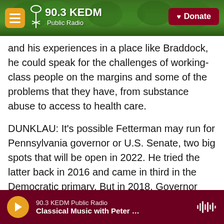90.3 KEDM Public Radio — Donate
and his experiences in a place like Braddock, he could speak for the challenges of working-class people on the margins and some of the problems that they have, from substance abuse to access to health care.
DUNKLAU: It's possible Fetterman may run for Pennsylvania governor or U.S. Senate, two big spots that will be open in 2022. He tried the latter back in 2016 and came in third in the Democratic primary. But in 2018, Governor Tom Wolf chose him as his running mate after he won a crowded lieutenant governor primary. Fetterman tells me
90.3 KEDM Public Radio — Classical Music with Peter …